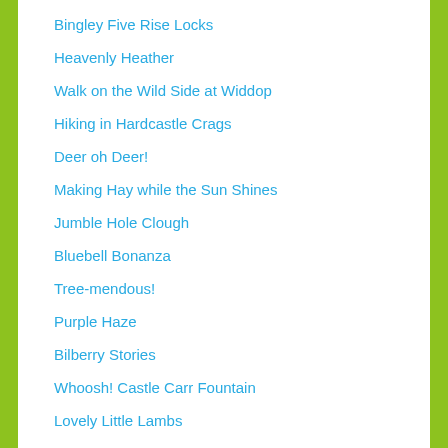Bingley Five Rise Locks
Heavenly Heather
Walk on the Wild Side at Widdop
Hiking in Hardcastle Crags
Deer oh Deer!
Making Hay while the Sun Shines
Jumble Hole Clough
Bluebell Bonanza
Tree-mendous!
Purple Haze
Bilberry Stories
Whoosh! Castle Carr Fountain
Lovely Little Lambs
Bluebellerama!
River of Mist
Delve into the Dales